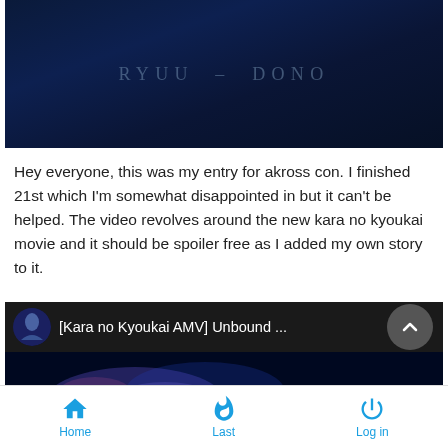[Figure (screenshot): Dark blue cinematic banner image with text RYUU - DONO in faint spaced letters]
Hey everyone, this was my entry for akross con. I finished 21st which I'm somewhat disappointed in but it can't be helped. The video revolves around the new kara no kyoukai movie and it should be spoiler free as I added my own story to it.
[Figure (screenshot): YouTube video embed showing [Kara no Kyoukai AMV] Unbound ... with dark blue/purple anime action scene thumbnail and circular avatar icon]
Home   Last   Log in